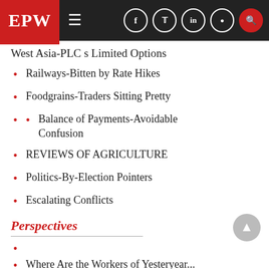EPW
West Asia-PLC s Limited Options
Railways-Bitten by Rate Hikes
Foodgrains-Traders Sitting Pretty
Balance of Payments-Avoidable Confusion
REVIEWS OF AGRICULTURE
Politics-By-Election Pointers
Escalating Conflicts
Perspectives
Where Are the Workers of Yesteryear...
Sumanta Banerjee
Di...